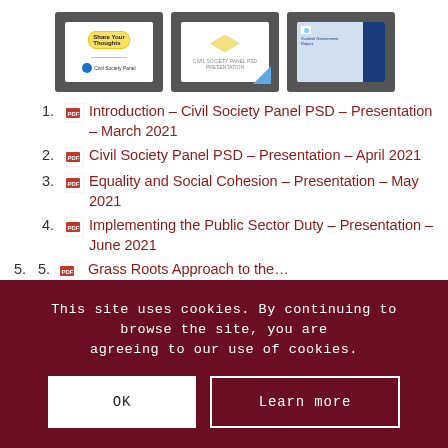[Figure (screenshot): Three presentation slide thumbnails shown in a row, each displayed in a dark grey frame. First slide has a yellow speech bubble graphic, second has a diamond/yellow shape, third has a blue and white cover design.]
Introduction – Civil Society Panel PSD – Presentation – March 2021
Civil Society Panel PSD – Presentation – April 2021
Equality and Social Cohesion – Presentation – May 2021
Implementing the Public Sector Duty – Presentation – June 2021
Grass Roots Approach to the…
This site uses cookies. By continuing to browse the site, you are agreeing to our use of cookies.